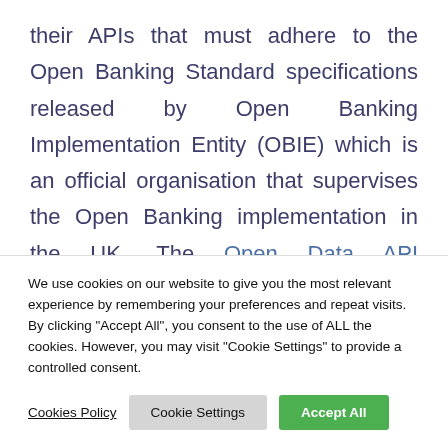their APIs that must adhere to the Open Banking Standard specifications released by Open Banking Implementation Entity (OBIE) which is an official organisation that supervises the Open Banking implementation in the UK. The Open Data API Specification governs how banks develop access endpoints for Third Party Providers (TPPs). It
We use cookies on our website to give you the most relevant experience by remembering your preferences and repeat visits. By clicking "Accept All", you consent to the use of ALL the cookies. However, you may visit "Cookie Settings" to provide a controlled consent.